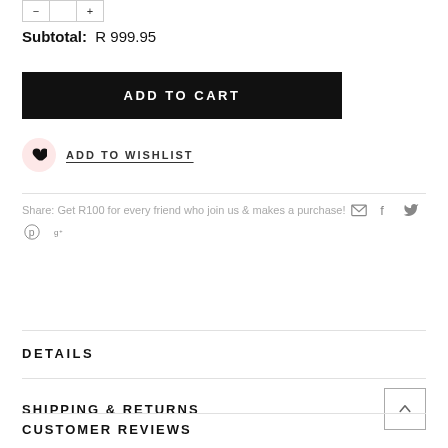Subtotal: R 999.95
ADD TO CART
ADD TO WISHLIST
Share: Get R100 for every friend who join us & makes a purchase!
DETAILS
SHIPPING & RETURNS
CUSTOMER REVIEWS